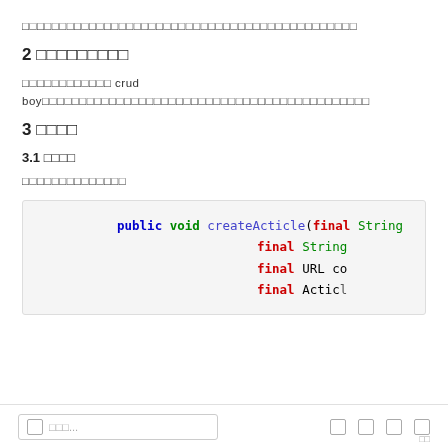□□□□□□□□□□□□□□□□□□□□□□□□□□□□□□□□□□□□□□□□□□□□□
2 □□□□□□□□□
□□□□□□□□□□□□ crud boy□□□□□□□□□□□□□□□□□□□□□□□□□□□□□□□□□□□□□□□□□□□□
3 □□□□
3.1 □□□□
□□□□□□□□□□□□□□
[Figure (screenshot): Code block showing Java method signature: public void createActicle(final String, final String, final URL co, final Actic...)]